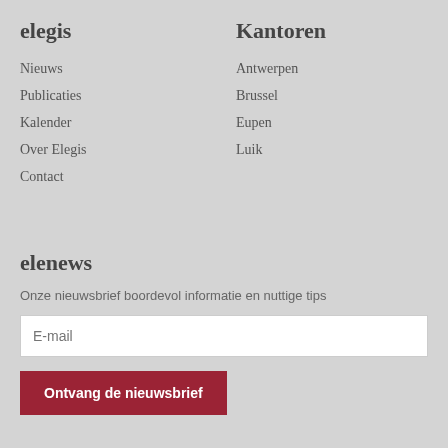elegis
Nieuws
Publicaties
Kalender
Over Elegis
Contact
Kantoren
Antwerpen
Brussel
Eupen
Luik
elenews
Onze nieuwsbrief boordevol informatie en nuttige tips
E-mail
Ontvang de nieuwsbrief